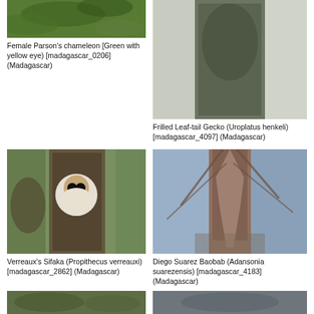[Figure (photo): Female Parson's chameleon, green with yellow eye, partial top view]
Female Parson's chameleon [Green with yellow eye) [madagascar_0206] (Madagascar)
[Figure (photo): Frilled Leaf-tail Gecko (Uroplatus henkeli) clinging to bark]
Frilled Leaf-tail Gecko (Uroplatus henkeli) [madagascar_4097] (Madagascar)
[Figure (photo): Verreaux's Sifaka (Propithecus verreauxi) lemur clinging to a branch]
Verreaux's Sifaka (Propithecus verreauxi) [madagascar_2862] (Madagascar)
[Figure (photo): Diego Suarez Baobab (Adansonia suarezensis) tall baobab tree viewed from below against cloudy sky]
Diego Suarez Baobab (Adansonia suarezensis) [madagascar_4183] (Madagascar)
[Figure (photo): Partial bottom image left column, animal/nature scene]
[Figure (photo): Partial bottom image right column, animal/nature scene]